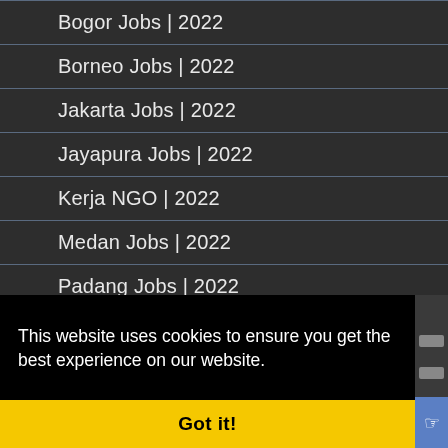Bogor Jobs | 2022
Borneo Jobs | 2022
Jakarta Jobs | 2022
Jayapura Jobs | 2022
Kerja NGO | 2022
Medan Jobs | 2022
Padang Jobs | 2022
This website uses cookies to ensure you get the best experience on our website.
Learn more
Got it!